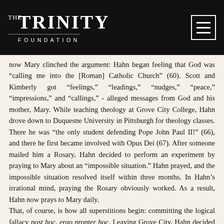THE TRINITY FOUNDATION
now Mary clinched the argument: Hahn began feeling that God was “calling me into the [Roman] Catholic Church” (60). Scott and Kimberly got “feelings,” “leadings,” “nudges,” “peace,” “impressions,” and “callings,” - alleged messages from God and his mother, Mary. While teaching theology at Grove City College, Hahn drove down to Duquesne University in Pittsburgh for theology classes. There he was “the only student defending Pope John Paul II!” (66), and there he first became involved with Opus Dei (67). After someone mailed him a Rosary, Hahn decided to perform an experiment by praying to Mary about an “impossible situation.” Hahn prayed, and the impossible situation resolved itself within three months. In Hahn’s irrational mind, praying the Rosary obviously worked. As a result, Hahn now prays to Mary daily.
That, of course, is how all superstitions begin: committing the logical fallacy post hoc, ergo propter hoc. Leaving Grove City, Hahn decided to continue his studies at Marquette University. While in Milwaukee he learned that his seminary classmate, Gerald Matatics, was going to be absorbed into the Roman Catholic church two weeks later at Easter, 1986. Hahn, who had talked Matatics into Roman Catholicism, could not stand to have him go first, yet Hahn had promised his wife that he would not become a Roman Catholic until 1990. He asked her to pray about releasing him from his promise, and she did so. Hahn and Matatics were